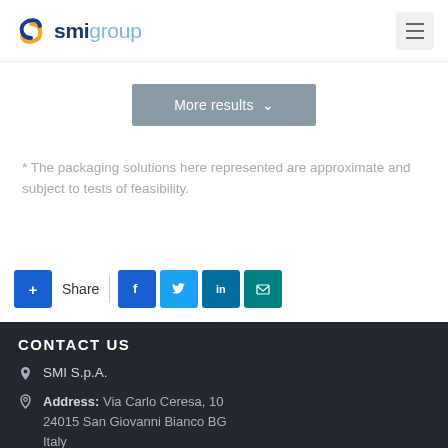[Figure (logo): SMI Group logo with orange/blue swirl and text 'smigroup' in blue and light blue]
More results ∨
* The packaging solutions here represented are approximate and subject to tests of feasibility.
[Figure (infographic): Share bar with plus button, 'Share' label, divider, and social media buttons: Facebook, Twitter, LinkedIn, Email]
CONTACT US
SMI S.p.A.
Address: Via Carlo Ceresa, 10 24015 San Giovanni Bianco BG Italy